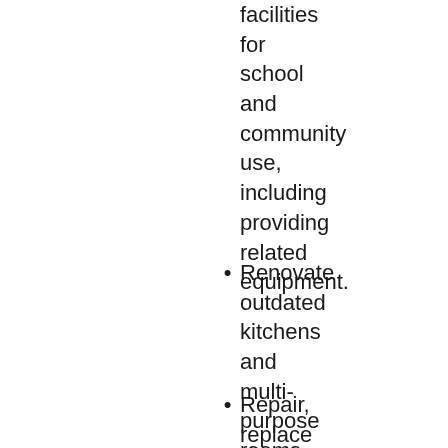facilities for school and community use, including providing related equipment.
Renovate outdated kitchens and multi-purpose rooms.
Repair, replace and/or